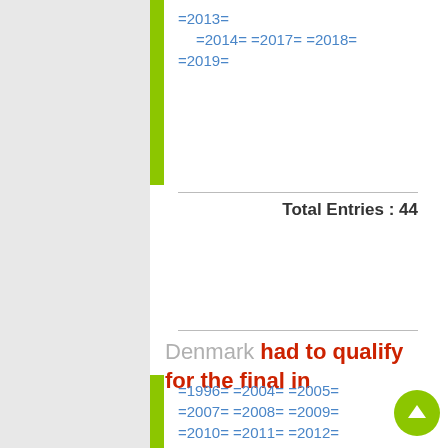=2013=
=2014= =2017= =2018=
=2019=
Total Entries : 44
Denmark had to qualify for the final in
=1996= =2004= =2005=
=2007= =2008= =2009=
=2010= =2011= =2012=